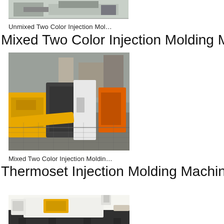[Figure (photo): Top portion of an injection molding machine (Unmixed Two Color), partially visible at top of page]
Unmixed Two Color Injection Mol…
Mixed Two Color Injection Molding Machine
[Figure (photo): Mixed Two Color Injection Molding Machine — industrial factory floor photo showing large yellow and black injection molding equipment]
Mixed Two Color Injection Moldin…
Thermoset Injection Molding Machine
[Figure (photo): Thermoset Injection Molding Machine — white and yellow injection molding machine with hopper on top, partially visible at bottom of page]